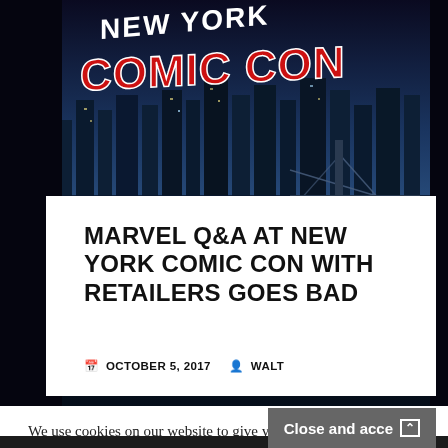[Figure (photo): New York Comic Con banner with city skyline at night, featuring the NYCC logo with red and white text on a dark starfield background]
MARVEL Q&A AT NEW YORK COMIC CON WITH RETAILERS GOES BAD
OCTOBER 5, 2017   WALT
We use cookies on our website to give you the most
Privacy & Cookies: This site uses cookies. By continuing to use this website, you agree to their use.
To find out more, including how to control cookies, see here: Cookie Policy
Close and accept